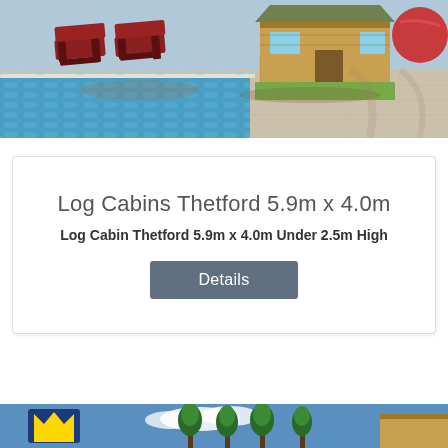[Figure (illustration): 3D render of a log cabin poolside scene with red deck chairs, a swimming pool with blue water, paving stones, and a wooden cabin structure in the background]
Log Cabins Thetford 5.9m x 4.0m
Log Cabin Thetford 5.9m x 4.0m Under 2.5m High
Details
[Figure (illustration): Partial view of another log cabin product image showing trees, blue sky, and a crown logo]